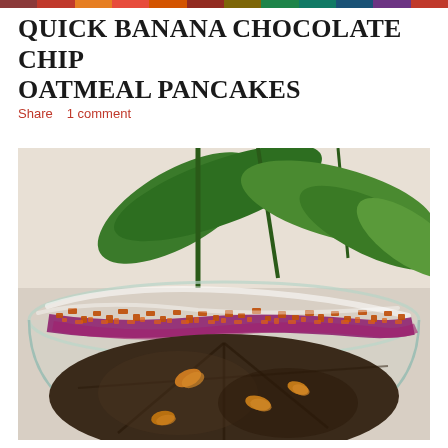[Figure (photo): Colorful decorative header strip showing assorted food/flower colors at the top of the page]
QUICK BANANA CHOCOLATE CHIP OATMEAL PANCAKES
Share   1 comment
[Figure (photo): Close-up photo of a glass bowl containing dark chocolate-colored pancakes garnished with orange crumble, purple/magenta sauce or cream, and dried banana chips, with large tropical green leaves in the background]